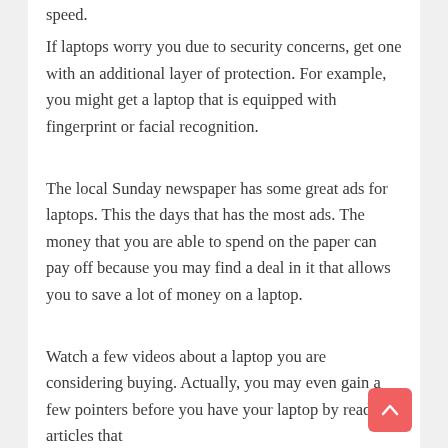speed.
If laptops worry you due to security concerns, get one with an additional layer of protection. For example, you might get a laptop that is equipped with fingerprint or facial recognition.
The local Sunday newspaper has some great ads for laptops. This the days that has the most ads. The money that you are able to spend on the paper can pay off because you may find a deal in it that allows you to save a lot of money on a laptop.
Watch a few videos about a laptop you are considering buying. Actually, you may even gain a few pointers before you have your laptop by reading articles that